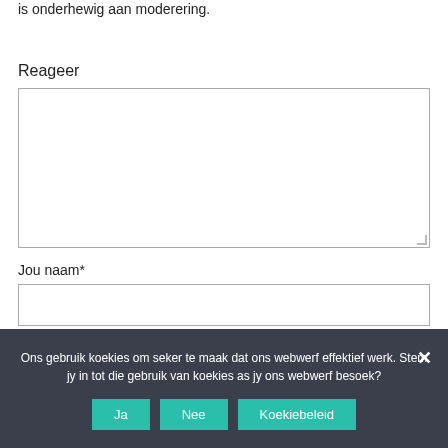is onderhewig aan moderering.
Reageer
Jou naam*
Jou e-posadres*
Ons gebruik koekies om seker te maak dat ons webwerf effektief werk. Stem jy in tot die gebruik van koekies as jy ons webwerf besoek?